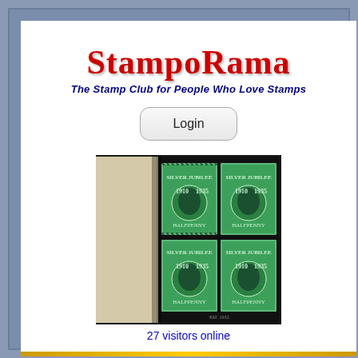StampoRama
The Stamp Club for People Who Love Stamps
Login
[Figure (photo): A stamp album open showing a page with green Silver Jubilee halfpenny stamps featuring King George V portrait, arranged in a block formation]
27 visitors online